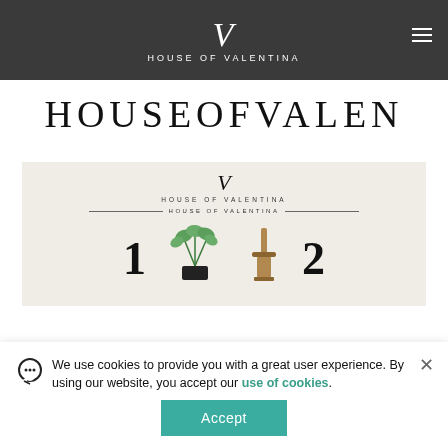HOUSE OF VALENTINA
HOUSEOFVALEN
[Figure (logo): House of Valentina branded image with logo, decorative divider lines, a potted herb plant, a wooden tool, and large numerals 1 and 2 on a beige background]
We use cookies to provide you with a great user experience. By using our website, you accept our use of cookies.